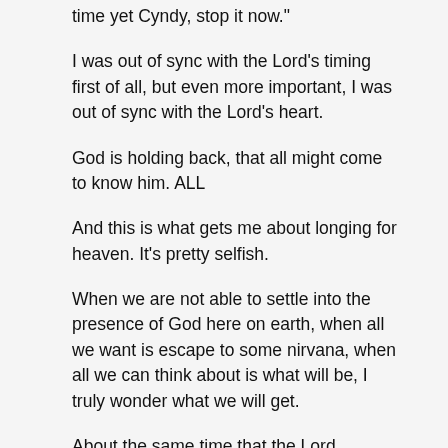time yet Cyndy, stop it now."
I was out of sync with the Lord's timing first of all, but even more important, I was out of sync with the Lord's heart.
God is holding back, that all might come to know him. ALL
And this is what gets me about longing for heaven. It's pretty selfish.
When we are not able to settle into the presence of God here on earth, when all we want is escape to some nirvana, when all we can think about is what will be, I truly wonder what we will get.
About the same time that the Lord reprimanded me for my selfish heart, I began to understand that the work we do on earth will in some way impact eternity.
The days we invest here become investments in eternity. Eternity is not the end of now as we know it, it is the continuation of now.